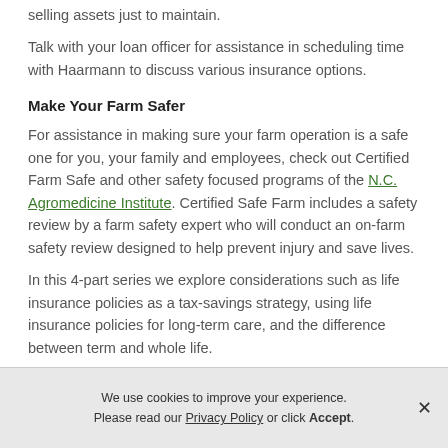selling assets just to maintain.
Talk with your loan officer for assistance in scheduling time with Haarmann to discuss various insurance options.
Make Your Farm Safer
For assistance in making sure your farm operation is a safe one for you, your family and employees, check out Certified Farm Safe and other safety focused programs of the N.C. Agromedicine Institute. Certified Safe Farm includes a safety review by a farm safety expert who will conduct an on-farm safety review designed to help prevent injury and save lives.
In this 4-part series we explore considerations such as life insurance policies as a tax-savings strategy, using life insurance policies for long-term care, and the difference between term and whole life.
We use cookies to improve your experience. Please read our Privacy Policy or click Accept.